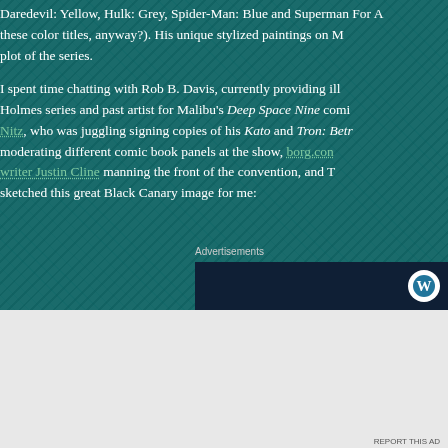Daredevil: Yellow, Hulk: Grey, Spider-Man: Blue and Superman For A these color titles, anyway?). His unique stylized paintings on M plot of the series.
I spent time chatting with Rob B. Davis, currently providing ill Holmes series and past artist for Malibu's Deep Space Nine comi Nitz, who was juggling signing copies of his Kato and Tron: Betr moderating different comic book panels at the show, borg.con writer Justin Cline manning the front of the convention, and T sketched this great Black Canary image for me:
Advertisements
[Figure (screenshot): WordPress advertisement with dark navy background showing WordPress logo (W in circle) in top right, text 'Opinions.' in light weight and 'We all have them!' in bold white, with a close button (X in circle) at bottom right]
Advertisements
[Figure (screenshot): WordPress.com advertisement banner with purple/pink gradient background, text 'Simplified pricing for everything you need.' in white on left, WordPress.com logo and text on right]